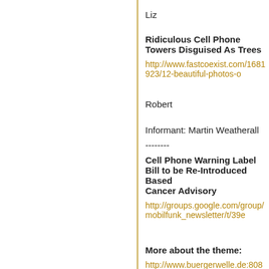Liz
Ridiculous Cell Phone Towers Disguised As Trees
http://www.fastcoexist.com/1681923/12-beautiful-photos-o
Robert
Informant: Martin Weatherall
--------
Cell Phone Warning Label Bill to be Re-Introduced Based Cancer Advisory
http://groups.google.com/group/mobilfunk_newsletter/t/39e
More about the theme:
http://www.buergerwelle.de:8080/helma/twoday/bwnews/s
http://omega.twoday.net/search?q=electromagnetic
http://www.buergerwelle.de:8080/helma/twoday/bwnews/s
http://omega.twoday.net/search?q=cell+phone+tower
http://www.buergerwelle.de:8080/helma/twoday/bwnews/s